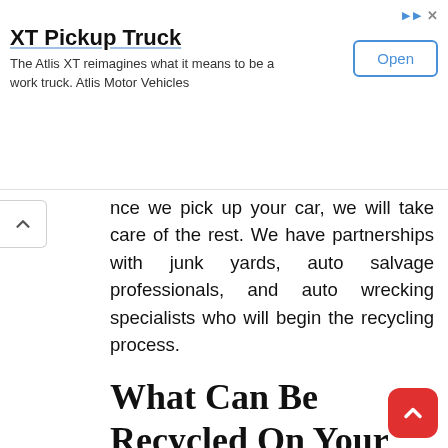[Figure (screenshot): Advertisement banner for XT Pickup Truck by Atlis Motor Vehicles with an Open button]
nce we pick up your car, we will take care of the rest. We have partnerships with junk yards, auto salvage professionals, and auto wrecking specialists who will begin the recycling process.
What Can Be Recycled On Your Car?
There are a multitude of elements on your car that can be recycled and salvaged. Some of the most common are metal, aluminum, and rubber. Some interesting facts about auto